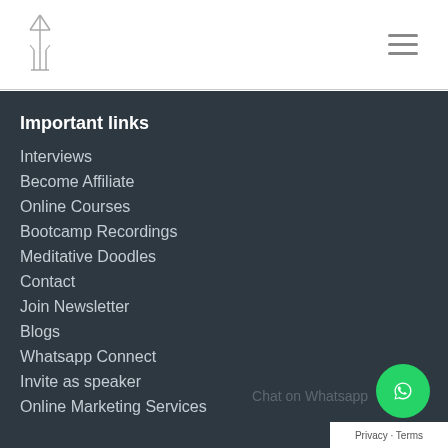[Figure (logo): Website logo — stylized figure/monument in light gray lines]
[Figure (illustration): Hamburger menu icon — three horizontal gray lines]
Important links
Interviews
Become Affiliate
Online Courses
Bootcamp Recordings
Meditative Doodles
Contact
Join Newsletter
Blogs
Whatsapp Connect
Invite as speaker
Online Marketing Services
[Figure (illustration): WhatsApp chat button — green circle with white WhatsApp phone icon]
Chat on Whatsapp
Privacy · Terms